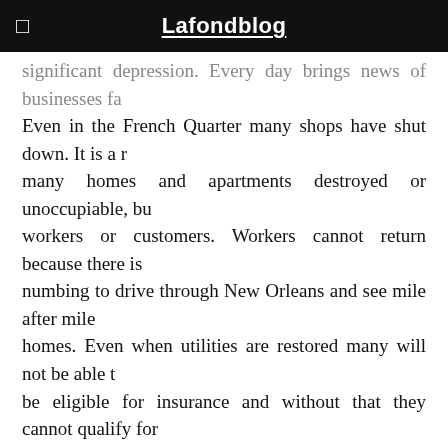Lafondblog
significant depression. Every day brings news of businesses fa... Even in the French Quarter many shops have shut down. It is a r... many homes and apartments destroyed or unoccupiable, bu... workers or customers. Workers cannot return because there is ... numbing to drive through New Orleans and see mile after mile... homes. Even when utilities are restored many will not be able t... be eligible for insurance and without that they cannot qualify for... not have flood insurance, so they do not have enough equity to ... employment, a loan is a pipe dream. I think you get the picture... more later today. Harry
This entry was posted on Thursday, December 29th, 2005 at 11:20 am and is fil... can follow any comments to this entry through the RSS 2.0 feed. You can leave a... your own site.